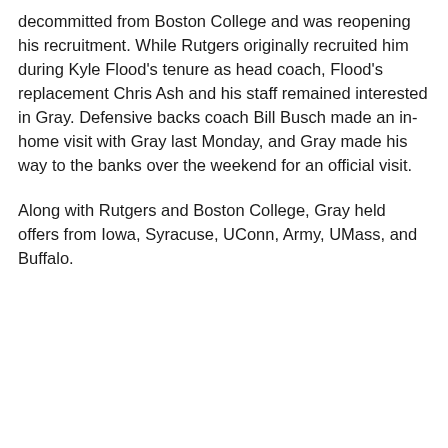decommitted from Boston College and was reopening his recruitment. While Rutgers originally recruited him during Kyle Flood's tenure as head coach, Flood's replacement Chris Ash and his staff remained interested in Gray. Defensive backs coach Bill Busch made an in-home visit with Gray last Monday, and Gray made his way to the banks over the weekend for an official visit.
Along with Rutgers and Boston College, Gray held offers from Iowa, Syracuse, UConn, Army, UMass, and Buffalo.